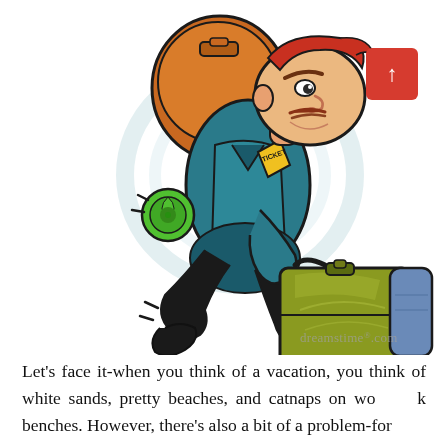[Figure (illustration): Cartoon illustration of a businessman running hurriedly, carrying a large olive-green briefcase in one hand and a blue bag in the other, with a large orange backpack on his back and a rolled green sleeping mat attached. He has red hair and is dressed in a teal jacket. A ticket is visible in his breast pocket. Motion lines indicate speed. Dreamstime.com watermark visible in lower right.]
Let's face it-when you think of a vacation, you think of white sands, pretty beaches, and catnaps on wooden benches. However, there's also a bit of a problem-for